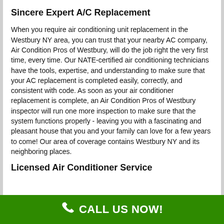Sincere Expert A/C Replacement
When you require air conditioning unit replacement in the Westbury NY area, you can trust that your nearby AC company, Air Condition Pros of Westbury, will do the job right the very first time, every time. Our NATE-certified air conditioning technicians have the tools, expertise, and understanding to make sure that your AC replacement is completed easily, correctly, and consistent with code. As soon as your air conditioner replacement is complete, an Air Condition Pros of Westbury inspector will run one more inspection to make sure that the system functions properly - leaving you with a fascinating and pleasant house that you and your family can love for a few years to come! Our area of coverage contains Westbury NY and its neighboring places.
Licensed Air Conditioner Service
CALL US NOW!